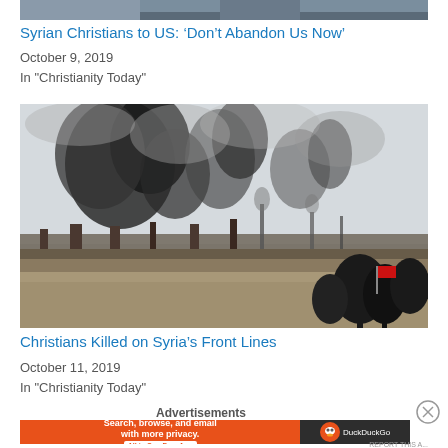[Figure (photo): Partial view of soldiers or military personnel at the top of the page, cropped]
Syrian Christians to US: ‘Don’t Abandon Us Now’
October 9, 2019
In "Christianity Today"
[Figure (photo): Aerial or distant view of a warzone with large black smoke plumes rising from burning buildings, with trees and a red flag visible in the foreground, hazy sky in background]
Christians Killed on Syria’s Front Lines
October 11, 2019
In "Christianity Today"
Advertisements
[Figure (screenshot): DuckDuckGo advertisement banner: orange left section with text 'Search, browse, and email with more privacy. All in One Free App' and dark right section with DuckDuckGo duck logo and brand name]